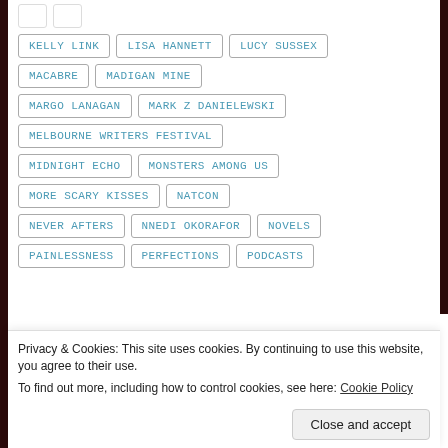KELLY LINK
LISA HANNETT
LUCY SUSSEX
MACABRE
MADIGAN MINE
MARGO LANAGAN
MARK Z DANIELEWSKI
MELBOURNE WRITERS FESTIVAL
MIDNIGHT ECHO
MONSTERS AMONG US
MORE SCARY KISSES
NATCON
NEVER AFTERS
NNEDI OKORAFOR
NOVELS
PAINLESSNESS
PERFECTIONS
PODCASTS
Privacy & Cookies: This site uses cookies. By continuing to use this website, you agree to their use. To find out more, including how to control cookies, see here: Cookie Policy
Close and accept